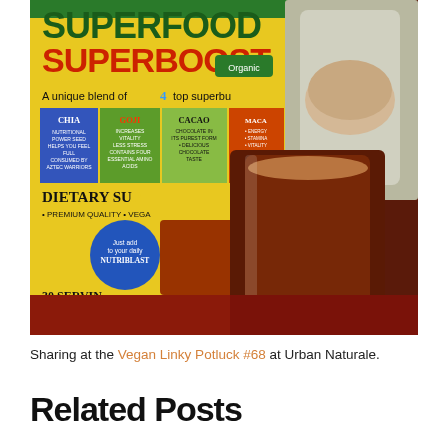[Figure (photo): A glass filled with a dark chocolate-brown smoothie sits in front of a yellow bag of 'Superfood Superboost' supplement powder. The bag lists ingredients including Chia, Goji, Cacao, and mentions 'Dietary Supplement', 'Premium Quality', 'Vegan', '30 Servings', 'Net Wt: 6 oz'. A blender with oats is visible in the background. The surface is a red cloth. Watermark reads 'eating well diary'.]
Sharing at the Vegan Linky Potluck #68 at Urban Naturale.
Related Posts